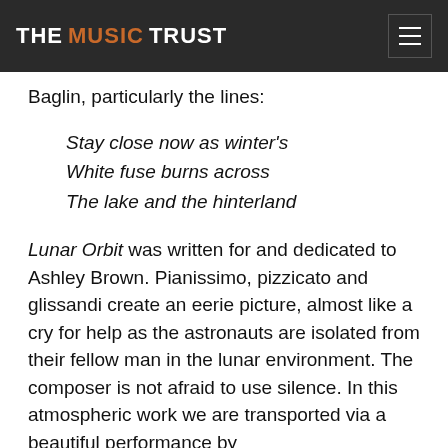THE MUSIC TRUST
Baglin, particularly the lines:
Stay close now as winter's
White fuse burns across
The lake and the hinterland
Lunar Orbit was written for and dedicated to Ashley Brown. Pianissimo, pizzicato and glissandi create an eerie picture, almost like a cry for help as the astronauts are isolated from their fellow man in the lunar environment. The composer is not afraid to use silence. In this atmospheric work we are transported via a beautiful performance by